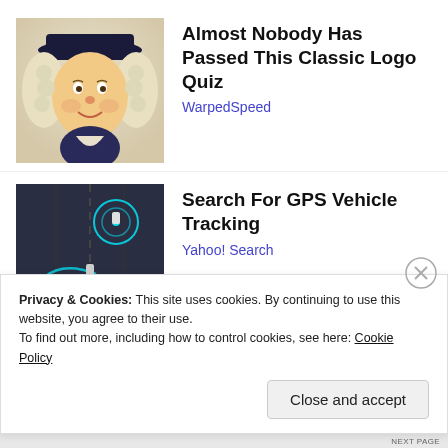[Figure (illustration): Quaker Oats mascot character — man in colonial attire with wide-brimmed hat and white wig, smiling]
Almost Nobody Has Passed This Classic Logo Quiz
WarpedSpeed
[Figure (photo): Aerial view of vehicles on a road with GPS tracking circles/arcs overlaid in cyan/teal. Text overlay: 'Gps Vehicle racking System']
Search For GPS Vehicle Tracking
Yahoo! Search
Privacy & Cookies: This site uses cookies. By continuing to use this website, you agree to their use.
To find out more, including how to control cookies, see here: Cookie Policy
Close and accept